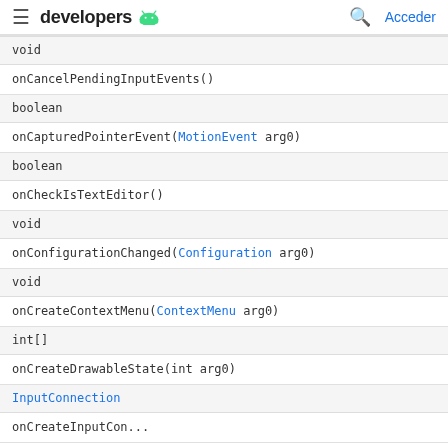developers [android logo] | Acceder
| void |
| onCancelPendingInputEvents() |
| boolean |
| onCapturedPointerEvent(MotionEvent arg0) |
| boolean |
| onCheckIsTextEditor() |
| void |
| onConfigurationChanged(Configuration arg0) |
| void |
| onCreateContextMenu(ContextMenu arg0) |
| int[] |
| onCreateDrawableState(int arg0) |
| InputConnection |
| onCreateInputConnection(EditorInfo arg0) |